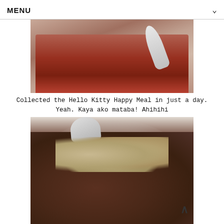MENU
[Figure (photo): Top-down photo of noodles in a bowl with a spoon, reddish-brown noodle dish]
Collected the Hello Kitty Happy Meal in just a day. Yeah. Kaya ako mataba! Ahihihi
[Figure (photo): Close-up photo of cooked meat cubes and mushrooms on a blue-patterned plate with a spoon]